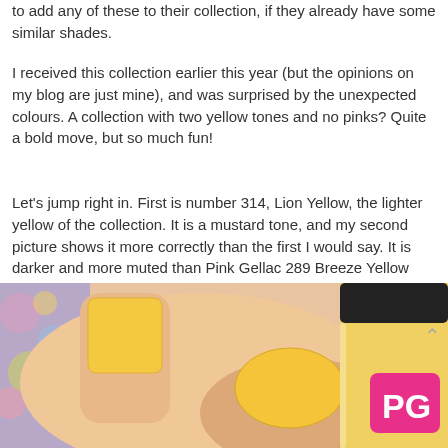to add any of these to their collection, if they already have some similar shades.
I received this collection earlier this year (but the opinions on my blog are just mine), and was surprised by the unexpected colours. A collection with two yellow tones and no pinks? Quite a bold move, but so much fun!
Let's jump right in. First is number 314, Lion Yellow, the lighter yellow of the collection. It is a mustard tone, and my second picture shows it more correctly than the first I would say. It is darker and more muted than Pink Gellac 289 Breeze Yellow from the Festival Summer collection. I'm wearing three coats.
[Figure (photo): Close-up photo of a hand with yellow/mustard gel nail polish, next to a yellow Pink Gellac nail polish bottle with a pink logo square on it.]